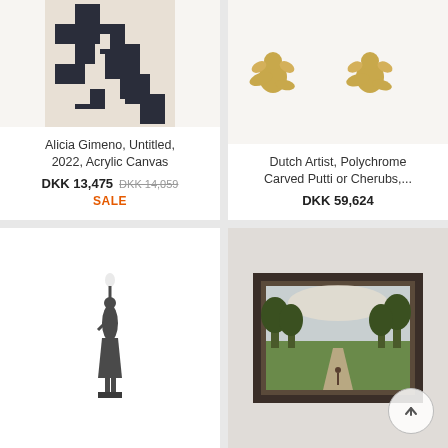[Figure (photo): Abstract artwork with dark navy/black geometric shapes on beige background by Alicia Gimeno]
Alicia Gimeno, Untitled, 2022, Acrylic Canvas
DKK 13,475  DKK 14,059  SALE
[Figure (photo): Two golden polychrome carved putti or cherubs figurines on white background]
Dutch Artist, Polychrome Carved Putti or Cherubs,...
DKK 59,624
[Figure (photo): Bronze statue of a figure holding a torch aloft, standing on white background]
[Figure (photo): Framed landscape oil painting showing a garden or park scene with trees and pathway, in dark brown frame]